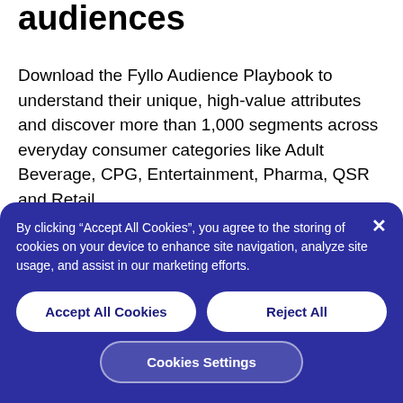audiences
Download the Fyllo Audience Playbook to understand their unique, high-value attributes and discover more than 1,000 segments across everyday consumer categories like Adult Beverage, CPG, Entertainment, Pharma, QSR and Retail
By clicking “Accept All Cookies”, you agree to the storing of cookies on your device to enhance site navigation, analyze site usage, and assist in our marketing efforts.
Accept All Cookies
Reject All
Cookies Settings